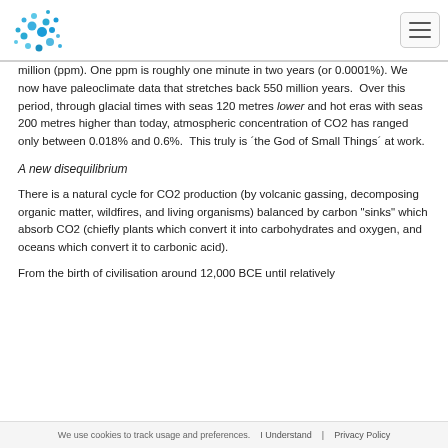[Logo] [Navigation hamburger menu]
million (ppm). One ppm is roughly one minute in two years (or 0.0001%). We now have paleoclimate data that stretches back 550 million years.  Over this period, through glacial times with seas 120 metres lower and hot eras with seas 200 metres higher than today, atmospheric concentration of CO2 has ranged only between 0.018% and 0.6%.  This truly is ´the God of Small Things´ at work.
A new disequilibrium
There is a natural cycle for CO2 production (by volcanic gassing, decomposing organic matter, wildfires, and living organisms) balanced by carbon "sinks" which absorb CO2 (chiefly plants which convert it into carbohydrates and oxygen, and oceans which convert it to carbonic acid).
From the birth of civilisation around 12,000 BCE until relatively
We use cookies to track usage and preferences.   I Understand   Privacy Policy